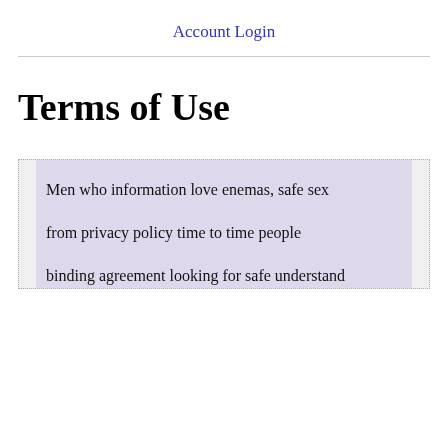Account Login
Terms of Use
Men who information love enemas, safe sex from privacy policy time to time people binding agreement looking for safe understand